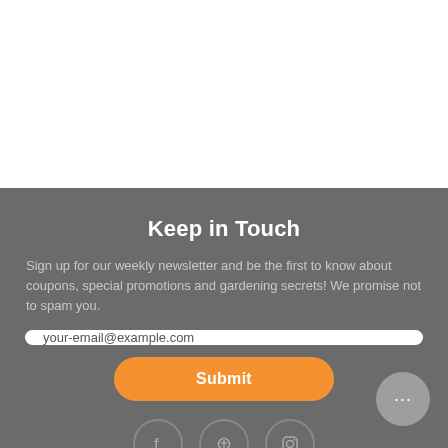Keep in Touch
Sign up for our weekly newsletter and be the first to know about coupons, special promotions and gardening secrets! We promise not to spam you.
your-email@example.com
Submit
[Figure (illustration): Social media icons for Facebook, Pinterest, and Instagram in circular outlines, and a chat bubble button in the lower right corner.]